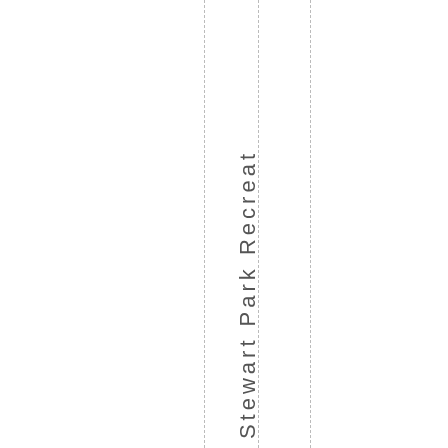At Joseph Stewart Park Recreat